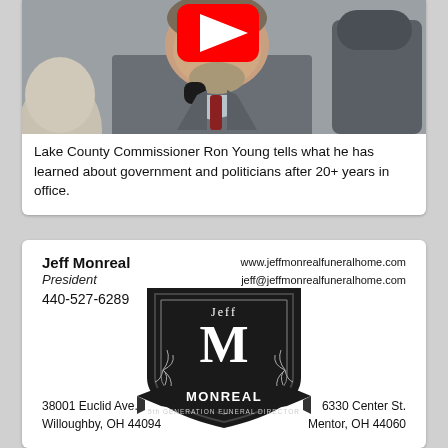[Figure (screenshot): Video thumbnail showing Lake County Commissioner Ron Young speaking, with YouTube play button overlay]
Lake County Commissioner Ron Young tells what he has learned about government and politicians after 20+ years in office.
[Figure (illustration): Jeff Monreal Funeral Home business card with shield/crest logo. Shows name Jeff Monreal, President, phone 440-527-6289, website www.jeffmonrealfuneralhome.com, email jeff@jeffmonrealfuneralhome.com, addresses 38001 Euclid Ave. Willoughby OH 44094 and 6330 Center St. Mentor OH 44060.]